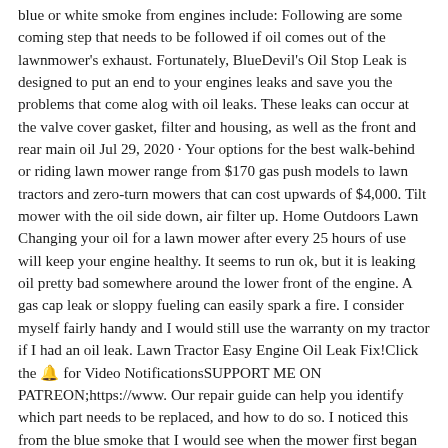blue or white smoke from engines include: Following are some coming step that needs to be followed if oil comes out of the lawnmower's exhaust. Fortunately, BlueDevil's Oil Stop Leak is designed to put an end to your engines leaks and save you the problems that come alog with oil leaks. These leaks can occur at the valve cover gasket, filter and housing, as well as the front and rear main oil Jul 29, 2020 · Your options for the best walk-behind or riding lawn mower range from $170 gas push models to lawn tractors and zero-turn mowers that can cost upwards of $4,000. Tilt mower with the oil side down, air filter up. Home Outdoors Lawn Changing your oil for a lawn mower after every 25 hours of use will keep your engine healthy. It seems to run ok, but it is leaking oil pretty bad somewhere around the lower front of the engine. A gas cap leak or sloppy fueling can easily spark a fire. I consider myself fairly handy and I would still use the warranty on my tractor if I had an oil leak. Lawn Tractor Easy Engine Oil Leak Fix!Click the 🔔 for Video NotificationsSUPPORT ME ON PATREON;https://www. Our repair guide can help you identify which part needs to be replaced, and how to do so. I noticed this from the blue smoke that I would see when the mower first began moving and oil droplets would fall on the hot muffler. Always check around the base of the engine, oil tube, and tank. This manual explains procedures for repairing these issues in a Briggs and Jan 24, 2020 · How does the oil get into the exhaust from the lawnmower? To protect your health and the environment, the